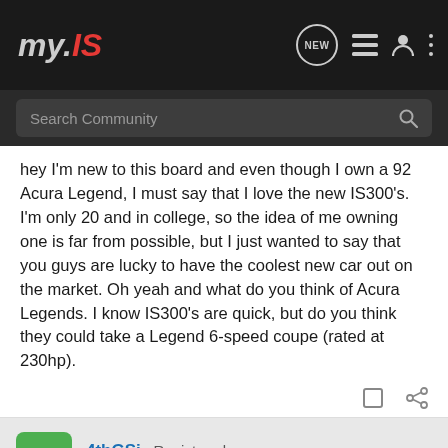my.IS
Search Community
hey I'm new to this board and even though I own a 92 Acura Legend, I must say that I love the new IS300's. I'm only 20 and in college, so the idea of me owning one is far from possible, but I just wanted to say that you guys are lucky to have the coolest new car out on the market. Oh yeah and what do you think of Acura Legends. I know IS300's are quick, but do you think they could take a Legend 6-speed coupe (rated at 230hp).
4thGSi · Registered
Joined Nov 21, 2000 · 11 Posts
#2 · Jan
[Figure (screenshot): Advertisement banner: Pedal Commander product with text 'WANNA INCREASE YOUR 0-60?']